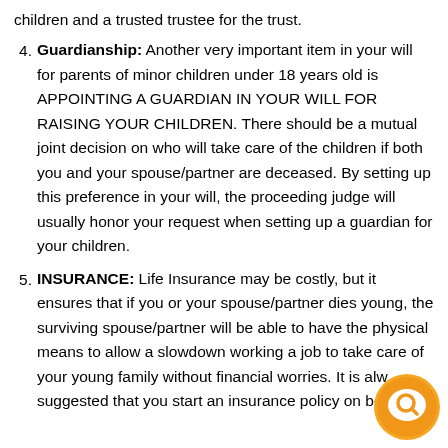children and a trusted trustee for the trust.
Guardianship: Another very important item in your will for parents of minor children under 18 years old is APPOINTING A GUARDIAN IN YOUR WILL FOR RAISING YOUR CHILDREN. There should be a mutual joint decision on who will take care of the children if both you and your spouse/partner are deceased. By setting up this preference in your will, the proceeding judge will usually honor your request when setting up a guardian for your children.
INSURANCE: Life Insurance may be costly, but it ensures that if you or your spouse/partner dies young, the surviving spouse/partner will be able to have the physical means to allow a slowdown working a job to take care of your young family without financial worries. It is always suggested that you start an insurance policy on both